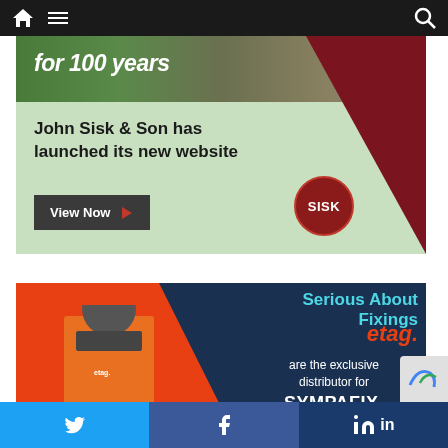Navigation bar with home, menu, and search icons
[Figure (advertisement): John Sisk & Son advertisement. Green background with 'for 100 years' header text over construction site photo. Red triangle decorative element. Text: 'John Sisk & Son has launched its new website'. Button: 'View Now' with arrow. SISK circular logo bottom right.]
[Figure (advertisement): etag. advertisement on dark navy background with orange-red left panel. Worker in orange hi-vis vest. Text: 'Serious About Fixings'. 'etag.' in orange. 'are the exclusive distributor for SYMPAFIX. serious fixings']
Social share buttons: Twitter, Facebook, LinkedIn